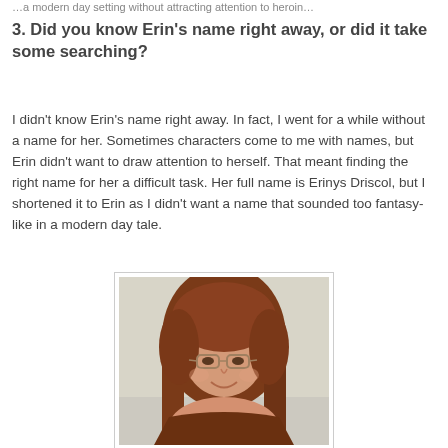...modern day setting without attracting attention to heroin...
3. Did you know Erin's name right away, or did it take some searching?
I didn't know Erin's name right away. In fact, I went for a while without a name for her. Sometimes characters come to me with names, but Erin didn't want to draw attention to herself. That meant finding the right name for her a difficult task. Her full name is Erinys Driscol, but I shortened it to Erin as I didn't want a name that sounded too fantasy-like in a modern day tale.
[Figure (photo): Portrait photograph of a woman with long reddish-brown hair and glasses, smiling slightly, wearing a brown top, against a light background.]